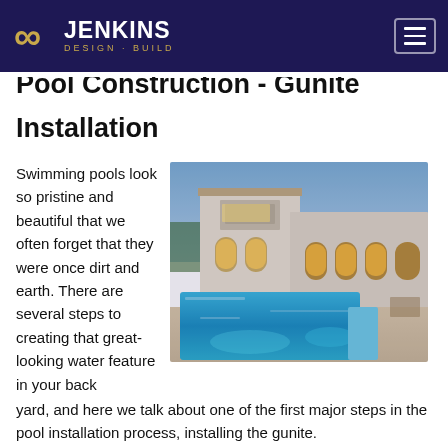Jenkins Design-Build
Pool Construction - Gunite Installation
Swimming pools look so pristine and beautiful that we often forget that they were once dirt and earth. There are several steps to creating that great-looking water feature in your back yard, and here we talk about one of the first major steps in the pool installation process, installing the gunite.
[Figure (photo): Luxury home with illuminated swimming pool at dusk, featuring a white Mediterranean-style house with arches and outdoor living area]
When we say it is time to gunite the pool it is another way of saying we're installing the concrete shell of the pool. This happens after all the rebar is already formed up, all the plumbing